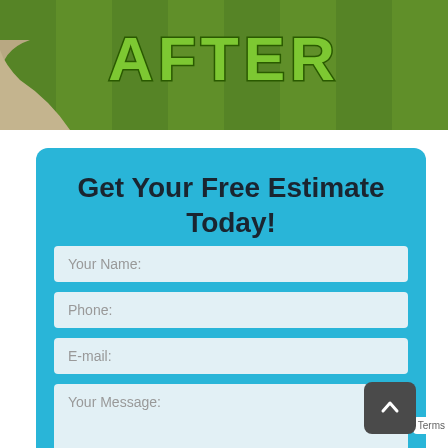[Figure (photo): Photo of mowed green lawn after treatment, with concrete sidewalk edge on left. Word AFTER in large green bold text at top.]
Get Your Free Estimate Today!
Your Name:
Phone:
E-mail:
Your Message: